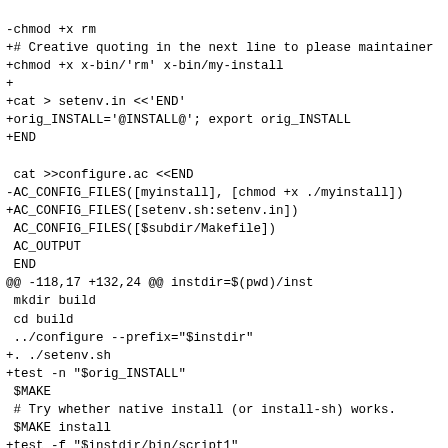-chmod +x rm
+# Creative quoting in the next line to please maintainer
+chmod +x x-bin/'rm' x-bin/my-install
+
+cat > setenv.in <<'END'
+orig_INSTALL='@INSTALL@'; export orig_INSTALL
+END

 cat >>configure.ac <<END
-AC_CONFIG_FILES([myinstall], [chmod +x ./myinstall])
+AC_CONFIG_FILES([setenv.sh:setenv.in])
 AC_CONFIG_FILES([$subdir/Makefile])
 AC_OUTPUT
 END
@@ -118,17 +132,24 @@ instdir=$(pwd)/inst
 mkdir build
 cd build
 ../configure --prefix="$instdir"
+. ./setenv.sh
+test -n "$orig_INSTALL"
 $MAKE
 # Try whether native install (or install-sh) works.
 $MAKE install
+test -f "$instdir/bin/script1"
 # Multiple uninstall should work, too.
 $MAKE uninstall
 $MAKE uninstall
 test $(find "$instdir" -type f -print | wc -l) -eq 0

# Try whether we don't exceed the low limit